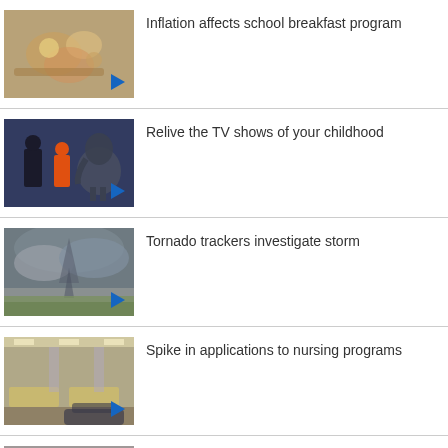Inflation affects school breakfast program
Relive the TV shows of your childhood
Tornado trackers investigate storm
Spike in applications to nursing programs
Retirement Ride: Dr. Sam Kucey shares his passion